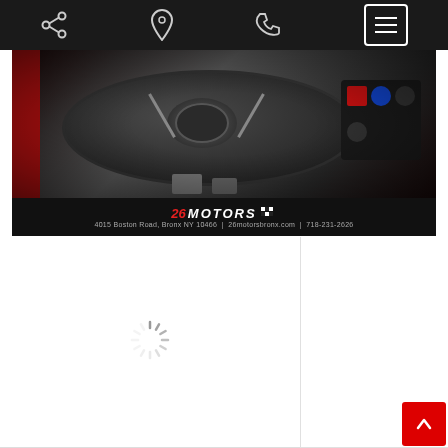[Figure (screenshot): Mobile website navigation bar with share icon, map pin icon, phone icon, and hamburger menu button on dark background]
[Figure (photo): Car dealership banner showing Alfa Romeo steering wheel interior photo with red accents. Logo reads '26 MOTORS' with checkered flag. Address: 4015 Boston Road, Bronx NY 10466 | 26motorsbronx.com | 718-231-2626]
[Figure (screenshot): Loading spinner (circular dashed loader) centered in a white content area panel on the left side]
[Figure (screenshot): Red scroll-to-top button with upward arrow in bottom right corner]